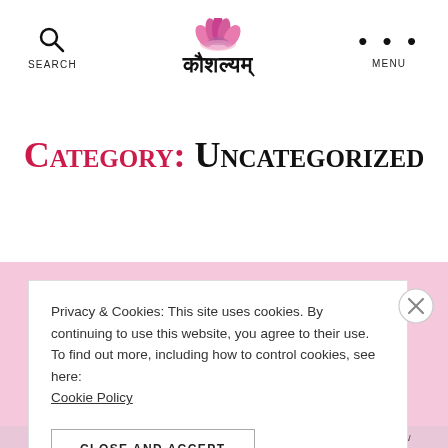Search | कौशल्यम् | Menu
Category: Uncategorized
Privacy & Cookies: This site uses cookies. By continuing to use this website, you agree to their use.
To find out more, including how to control cookies, see here: Cookie Policy
CLOSE AND ACCEPT